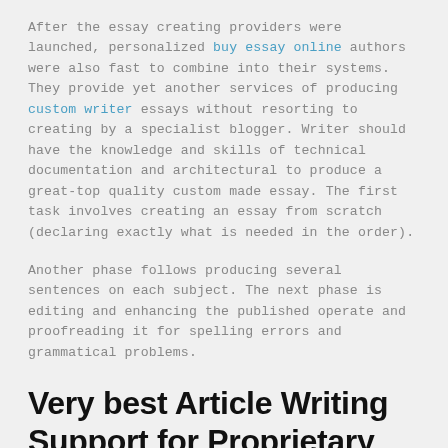After the essay creating providers were launched, personalized buy essay online authors were also fast to combine into their systems. They provide yet another services of producing custom writer essays without resorting to creating by a specialist blogger. Writer should have the knowledge and skills of technical documentation and architectural to produce a great-top quality custom made essay. The first task involves creating an essay from scratch (declaring exactly what is needed in the order).
Another phase follows producing several sentences on each subject. The next phase is editing and enhancing the published operate and proofreading it for spelling errors and grammatical problems.
Very best Article Writing Support for Proprietary Content